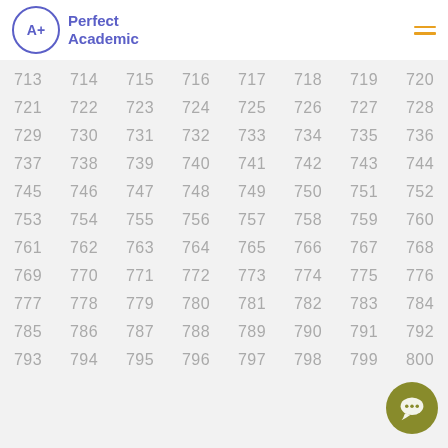Perfect Academic
| 713 | 714 | 715 | 716 | 717 | 718 | 719 | 720 |
| 721 | 722 | 723 | 724 | 725 | 726 | 727 | 728 |
| 729 | 730 | 731 | 732 | 733 | 734 | 735 | 736 |
| 737 | 738 | 739 | 740 | 741 | 742 | 743 | 744 |
| 745 | 746 | 747 | 748 | 749 | 750 | 751 | 752 |
| 753 | 754 | 755 | 756 | 757 | 758 | 759 | 760 |
| 761 | 762 | 763 | 764 | 765 | 766 | 767 | 768 |
| 769 | 770 | 771 | 772 | 773 | 774 | 775 | 776 |
| 777 | 778 | 779 | 780 | 781 | 782 | 783 | 784 |
| 785 | 786 | 787 | 788 | 789 | 790 | 791 | 792 |
| 793 | 794 | 795 | 796 | 797 | 798 | 799 | 800 |